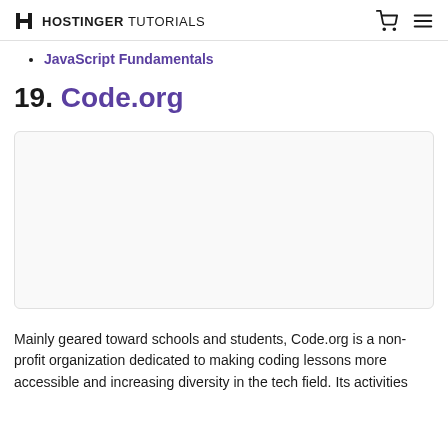HOSTINGER TUTORIALS
JavaScript Fundamentals
19. Code.org
[Figure (screenshot): Screenshot placeholder box for Code.org website]
Mainly geared toward schools and students, Code.org is a non-profit organization dedicated to making coding lessons more accessible and increasing diversity in the tech field. Its activities